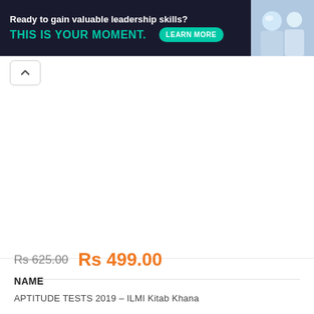[Figure (screenshot): Advertisement banner with dark navy background. Text: 'Ready to gain valuable leadership skills?' in white bold, 'THIS IS YOUR MOMENT.' in teal/green bold, a 'LEARN MORE' teal rounded button, and a photo of people on the right side.]
Rs 625.00  Rs 499.00
NAME
APTITUDE TESTS 2019 – ILMI Kitab Khana